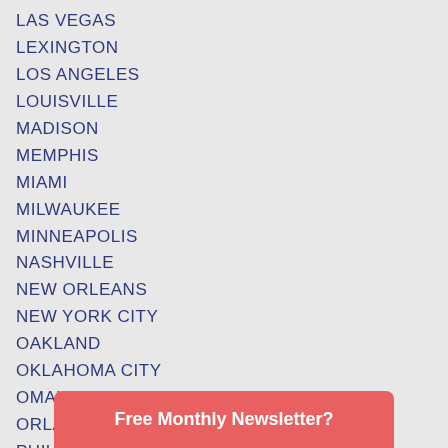LAS VEGAS
LEXINGTON
LOS ANGELES
LOUISVILLE
MADISON
MEMPHIS
MIAMI
MILWAUKEE
MINNEAPOLIS
NASHVILLE
NEW ORLEANS
NEW YORK CITY
OAKLAND
OKLAHOMA CITY
OMAHA
ORLANDO
PHILADELPHIA
PHO…
PITT…
Free Monthly Newsletter?